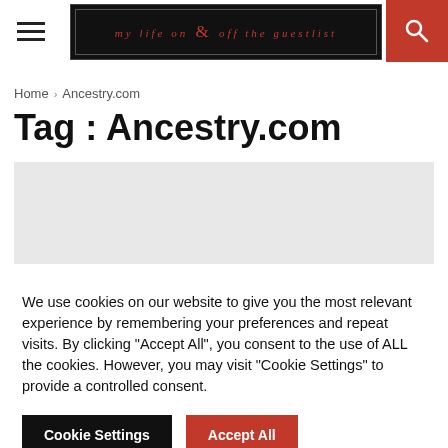≡   my life on & off the guestlist   🔍
Home › Ancestry.com
Tag : Ancestry.com
[Figure (other): Gray advertisement placeholder box]
We use cookies on our website to give you the most relevant experience by remembering your preferences and repeat visits. By clicking "Accept All", you consent to the use of ALL the cookies. However, you may visit "Cookie Settings" to provide a controlled consent.
Cookie Settings   Accept All